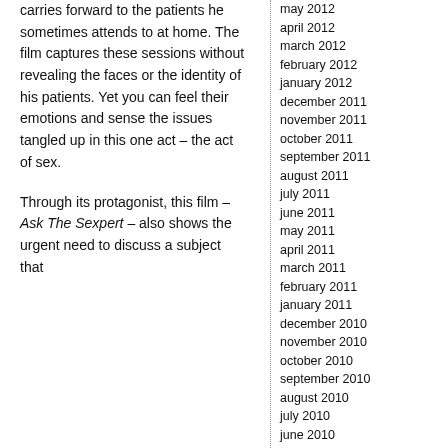carries forward to the patients he sometimes attends to at home. The film captures these sessions without revealing the faces or the identity of his patients. Yet you can feel their emotions and sense the issues tangled up in this one act – the act of sex.

Through its protagonist, this film – Ask The Sexpert – also shows the urgent need to discuss a subject that
may 2012
april 2012
march 2012
february 2012
january 2012
december 2011
november 2011
october 2011
september 2011
august 2011
july 2011
june 2011
may 2011
april 2011
march 2011
february 2011
january 2011
december 2010
november 2010
october 2010
september 2010
august 2010
july 2010
june 2010
may 2010
april 2010
march 2010
february 2010
january 2010
december 2009
november 2009
october 2009
september 2009